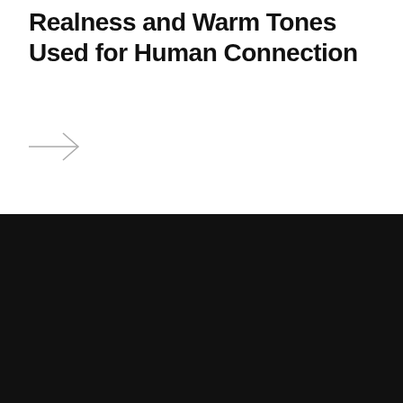Realness and Warm Tones Used for Human Connection
[Figure (illustration): A right-pointing arrow icon (chevron-style) in light gray on a white background, used as a navigation or read-more link.]
SUBSCRIBE TO OUR NEWSLETTER
STAY INSPIRED
Enter your email